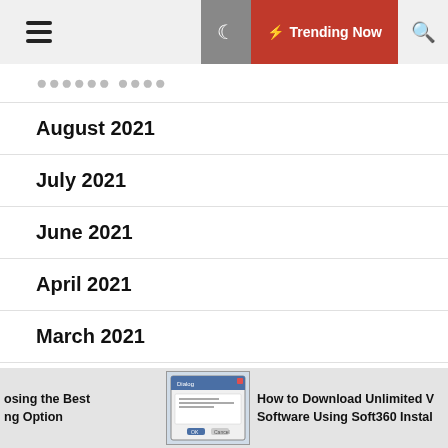Trending Now
October 2021 (truncated)
August 2021
July 2021
June 2021
April 2021
March 2021
February 2021
January 2021 (partially visible)
[Figure (screenshot): Screenshot of a Windows dialog box, software installer interface]
osing the Best ng Option
How to Download Unlimited V Software Using Soft360 Instal